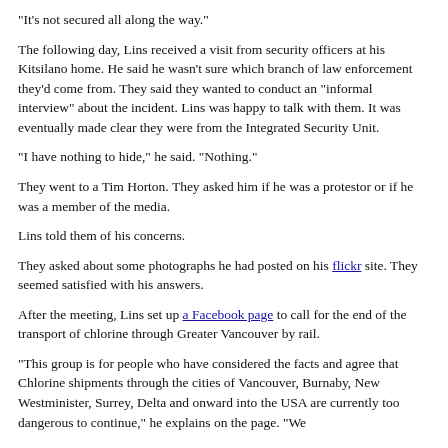"It's not secured all along the way."
The following day, Lins received a visit from security officers at his Kitsilano home. He said he wasn't sure which branch of law enforcement they'd come from. They said they wanted to conduct an "informal interview" about the incident. Lins was happy to talk with them. It was eventually made clear they were from the Integrated Security Unit.
"I have nothing to hide," he said. "Nothing."
They went to a Tim Horton. They asked him if he was a protestor or if he was a member of the media.
Lins told them of his concerns.
They asked about some photographs he had posted on his flickr site. They seemed satisfied with his answers.
After the meeting, Lins set up a Facebook page to call for the end of the transport of chlorine through Greater Vancouver by rail.
"This group is for people who have considered the facts and agree that Chlorine shipments through the cities of Vancouver, Burnaby, New Westminister, Surrey, Delta and onward into the USA are currently too dangerous to continue," he explains on the page. "We